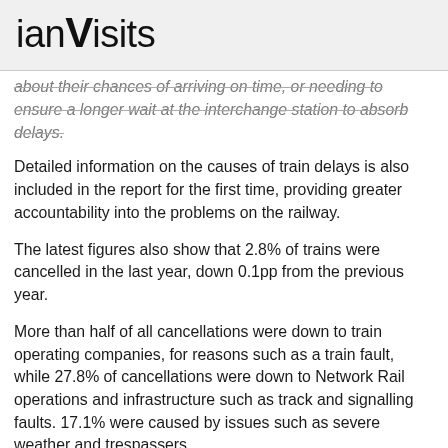ianVisits
about their chances of arriving on time, or needing to ensure a longer wait at the interchange station to absorb delays.
Detailed information on the causes of train delays is also included in the report for the first time, providing greater accountability into the problems on the railway.
The latest figures also show that 2.8% of trains were cancelled in the last year, down 0.1pp from the previous year.
More than half of all cancellations were down to train operating companies, for reasons such as a train fault, while 27.8% of cancellations were down to Network Rail operations and infrastructure such as track and signalling faults. 17.1% were caused by issues such as severe weather and trespassers.